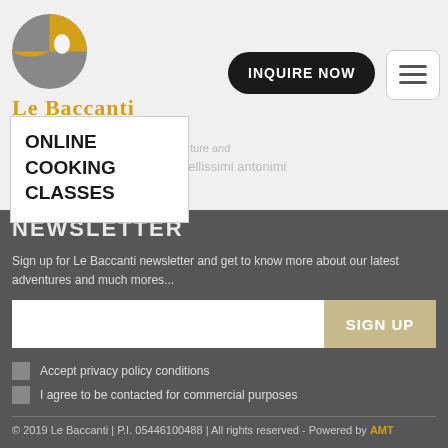[Figure (logo): Le Baccanti logo with yellow/grey circle icon and text 'Le Baccanti gourmet travel & events']
INQUIRE NOW
[Figure (other): Hamburger menu button with three horizontal lines]
ONLINE COOKING CLASSES
NEWSLETTER
Sign up for Le Baccanti newsletter and get to know more about our latest adventures and much mores...
SIGN UP
Accept privacy policy conditions
I agree to be contacted for commercial purposes
© 2019 Le Baccanti | P.I. 05446100488 | All rights reserved - Powered by AMT